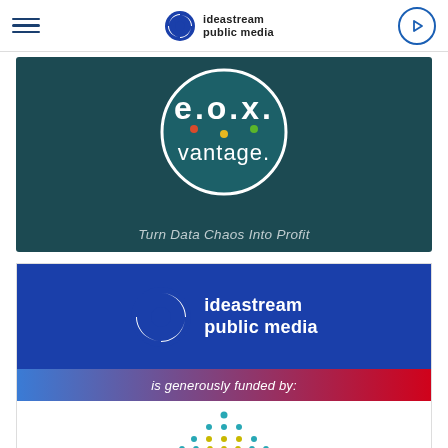ideastream public media
[Figure (logo): EOX Vantage advertisement with teal circular logo and tagline 'Turn Data Chaos Into Profit']
[Figure (logo): Ideastream Public Media 'is generously funded by' banner with Cuyahoga logo below]